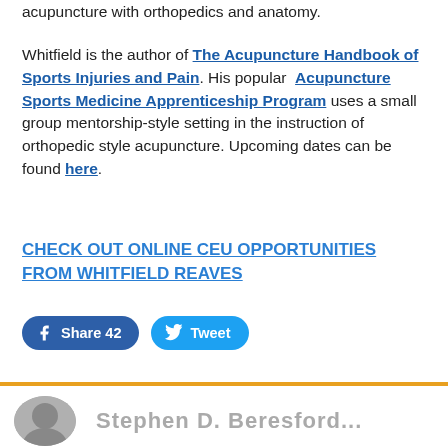acupuncture with orthopedics and anatomy.
Whitfield is the author of The Acupuncture Handbook of Sports Injuries and Pain. His popular Acupuncture Sports Medicine Apprenticeship Program uses a small group mentorship-style setting in the instruction of orthopedic style acupuncture. Upcoming dates can be found here.
CHECK OUT ONLINE CEU OPPORTUNITIES FROM WHITFIELD REAVES
Share 42   Tweet